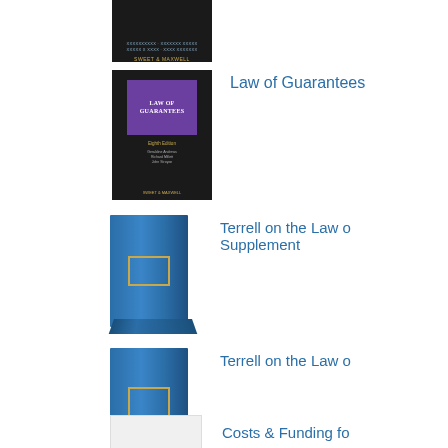[Figure (photo): Book cover (dark/black) partially cropped at top of page]
[Figure (photo): Book cover: Law of Guarantees, eighth edition, dark background with purple title block, gold text]
Law of Guarantees
[Figure (photo): Blue book spine with gold border rectangle - Terrell on the Law of Patents Supplement]
Terrell on the Law o Supplement
[Figure (photo): Blue book spine with gold border rectangle - Terrell on the Law of Patents]
Terrell on the Law o
[Figure (photo): Book cover partially visible - Costs & Funding fo...]
Costs & Funding fo